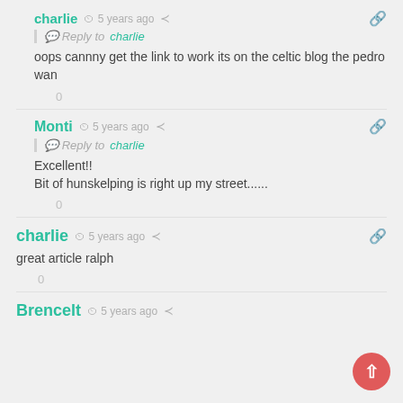charlie · 5 years ago — Reply to charlie — oops cannny get the link to work its on the celtic blog the pedro wan — 0
Monti · 5 years ago — Reply to charlie — Excellent!! Bit of hunskelping is right up my street...... — 0
charlie · 5 years ago — great article ralph — 0
Brencelt · 5 years ago